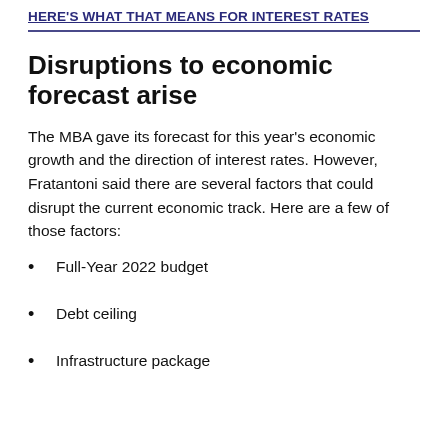HERE'S WHAT THAT MEANS FOR INTEREST RATES
Disruptions to economic forecast arise
The MBA gave its forecast for this year’s economic growth and the direction of interest rates. However, Fratantoni said there are several factors that could disrupt the current economic track. Here are a few of those factors:
Full-Year 2022 budget
Debt ceiling
Infrastructure package